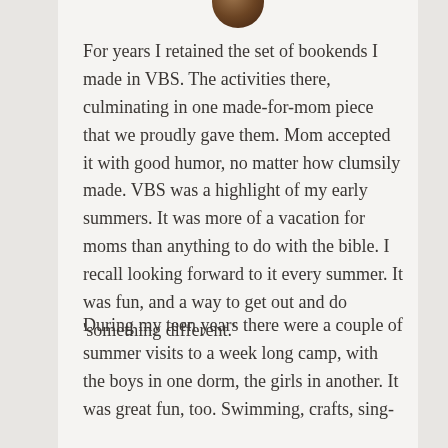[Figure (photo): Partial view of a circular avatar/profile photo showing the bottom portion of a dark brown/chocolate colored circular image at the top center of the content area]
For years I retained the set of bookends I made in VBS. The activities there, culminating in one made-for-mom piece that we proudly gave them. Mom accepted it with good humor, no matter how clumsily made. VBS was a highlight of my early summers. It was more of a vacation for moms than anything to do with the bible. I recall looking forward to it every summer. It was fun, and a way to get out and do 'something different.'
During my teen years there were a couple of summer visits to a week long camp, with the boys in one dorm, the girls in another. It was great fun, too. Swimming, crafts, sing-